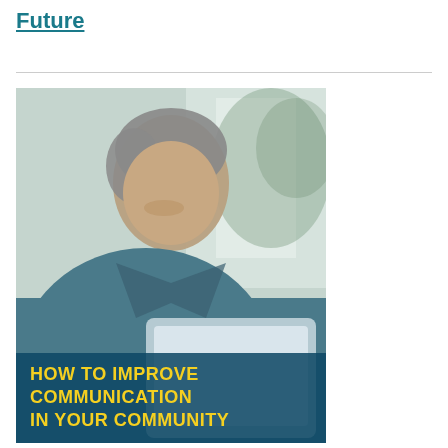Future
[Figure (photo): A middle-aged man with grey-streaked hair, smiling and looking down at a laptop, wearing a blue-grey shirt. Background is blurred indoor setting. Overlaid text at bottom reads: HOW TO IMPROVE COMMUNICATION IN YOUR COMMUNITY]